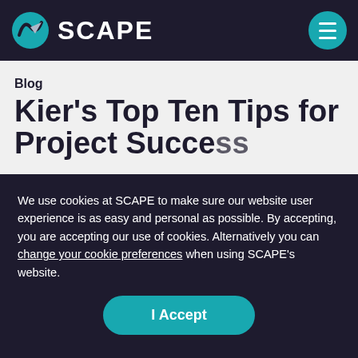SCAPE
Blog
Kier's Top Ten Tips for Project Success
We use cookies at SCAPE to make sure our website user experience is as easy and personal as possible. By accepting, you are accepting our use of cookies. Alternatively you can change your cookie preferences when using SCAPE's website.
I Accept